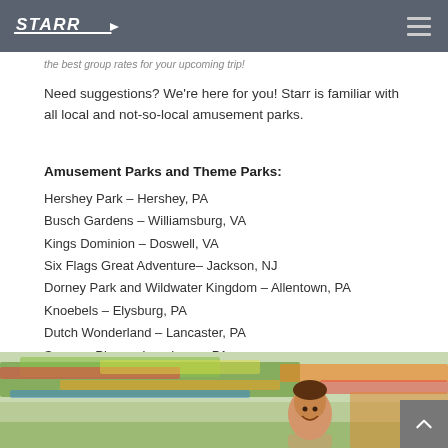STARR
the best group rates for your upcoming trip!
Need suggestions? We're here for you! Starr is familiar with all local and not-so-local amusement parks.
Amusement Parks and Theme Parks:
Hershey Park – Hershey, PA
Busch Gardens – Williamsburg, VA
Kings Dominion – Doswell, VA
Six Flags Great Adventure– Jackson, NJ
Dorney Park and Wildwater Kingdom – Allentown, PA
Knoebels – Elysburg, PA
Dutch Wonderland – Lancaster, PA
Sesame Place – Langhorne, PA
Six Flags America – Upper Marlboro, MD
[Figure (photo): Photo of amusement park ride with motion blur, person smiling in foreground]